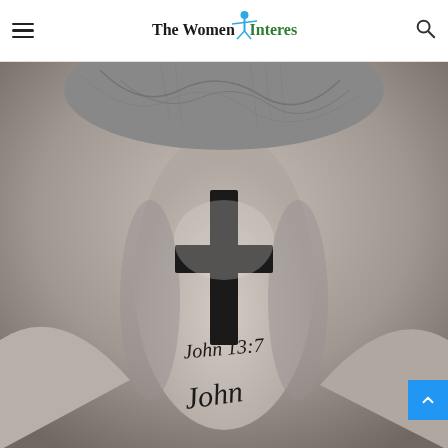The Women Interest
[Figure (photo): Black and white photograph of the back of a person's neck with a cross tattoo and 'John 13:7' written in cursive script beneath it.]